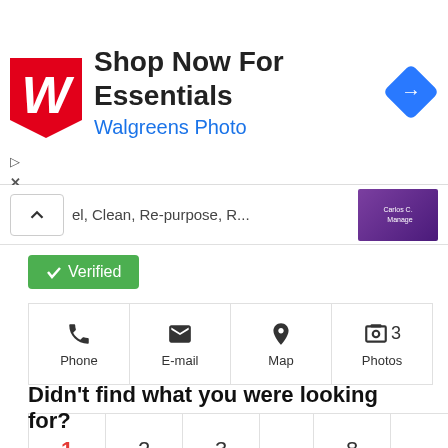[Figure (screenshot): Walgreens Photo advertisement banner with logo, 'Shop Now For Essentials' headline, and navigation icon]
el, Clean, Re-purpose, R...
[Figure (photo): Purple business card thumbnail]
✓ Verified
Phone  E-mail  Map  3 Photos
1  2  3  ...  8  →
212 companies
Didn't find what you were looking for?